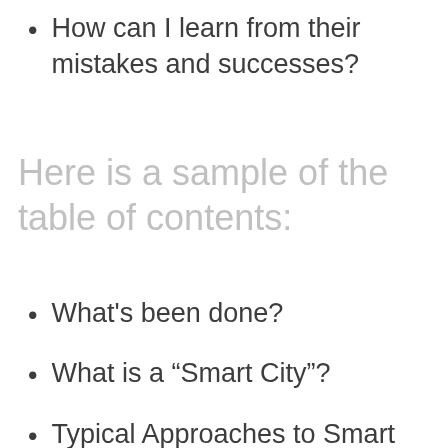How can I learn from their mistakes and successes?
Here is a sample of the table of contents:
What's been done?
What is a “Smart City”?
Typical Approaches to Smart City Initiatives